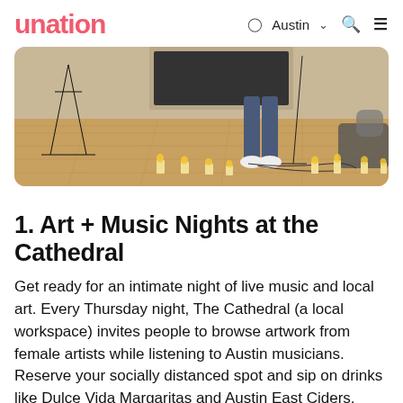unation  Austin  [search] [menu]
[Figure (photo): Indoor photo showing a music setup with black tripod/music stands on a wooden floor. Several small glowing candles are arranged on the floor. A person's legs in jeans and white sneakers are visible near a microphone stand. Another person crouching is visible on the right side.]
1. Art + Music Nights at the Cathedral
Get ready for an intimate night of live music and local art. Every Thursday night, The Cathedral (a local workspace) invites people to browse artwork from female artists while listening to Austin musicians. Reserve your socially distanced spot and sip on drinks like Dulce Vida Margaritas and Austin East Ciders,